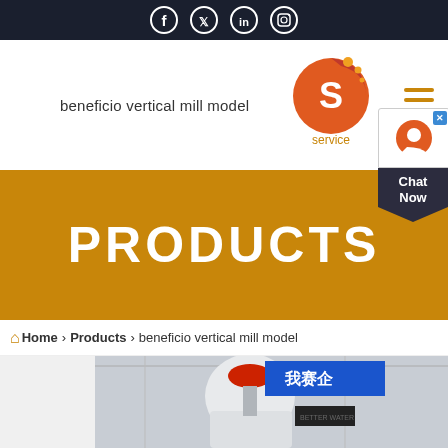Social media icons (Facebook, Twitter, LinkedIn, Instagram)
beneficio vertical mill model
[Figure (logo): Service company logo with red/orange circle and white S letter, text 'service' below]
PRODUCTS
Home > Products > beneficio vertical mill model
[Figure (photo): Industrial vertical mill machine in a factory with Chinese signage in the background]